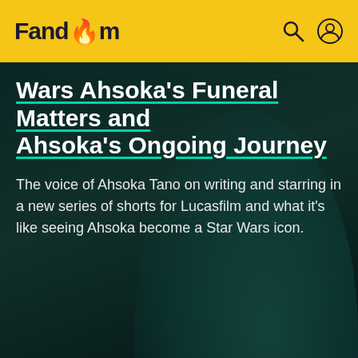Fandom
Wars Ahsoka's Funeral Matters and Ahsoka's Ongoing Journey
The voice of Ahsoka Tano on writing and starring in a new series of shorts for Lucasfilm and what it's like seeing Ahsoka become a Star Wars icon.
Eric Goldman  Jun 3
[Figure (photo): Second article card with MOVIES · ANIME tags and anime character illustration]
MOVIES · ANIME